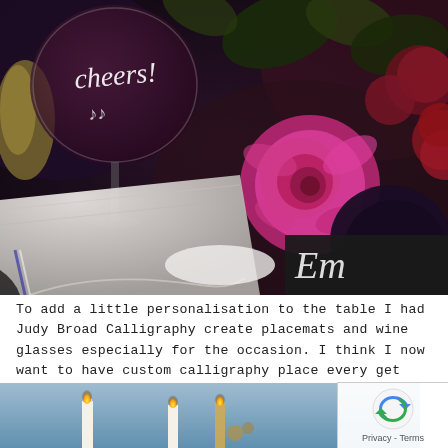[Figure (photo): A styled table setting photographed from above showing a wine glass with 'cheers!' written in white calligraphy, a pink rose, dark floral arrangement with red and purple flowers, a grey linen napkin, and a chalkboard place card with calligraphy writing.]
To add a little personalisation to the table I had Judy Broad Calligraphy create placemats and wine glasses especially for the occasion. I think I now want to have custom calligraphy place every get together I host!
[Figure (photo): Bottom portion of a photo showing lit candles against a blue background.]